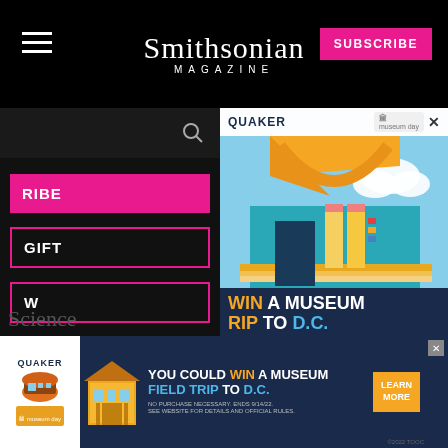Smithsonian MAGAZINE
SUBSCRIBE
[Figure (screenshot): Smithsonian Magazine website screenshot showing navigation menu overlay (left panel) with SUBSCRIBE and GIFT menu items outlined in pink, and a Quaker advertisement (right panel) showing 'WIN A MUSEUM TRIP TO D.C.' with daily prizes and a museum illustration made of school supplies]
Report an ad
Report an ad
[Figure (infographic): Quaker Museum Day banner advertisement: 'YOU COULD WIN A MUSEUM FIELD TRIP TO D.C.' with LEARN MORE button and fine print: No purchase necessary. Ends 9/14/22. See website for details and official rules.]
Science